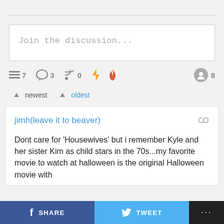Join the discussion...
≡7  💬3  ⅁0  ⚡  🔥     👤 8
▲ newest  ▲ oldest
jimh(leave it to beaver)
Dont care for 'Housewives' but i remember Kyle and her sister Kim as child stars in the 70s...my favorite movie to watch at halloween is the original Halloween movie with
f SHARE   🐦 TWEET   ...